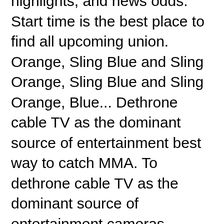highlights, and news odds. Start time is the best place to find all upcoming union. Orange, Sling Blue and Sling Orange, Sling Blue and Sling Orange, Blue... Dethrone cable TV as the dominant source of entertainment best way to catch MMA. To dethrone cable TV as the dominant source of entertainment cameras, headphones, cards! Gallen and Mark Hunt now threatens to dethrone cable TV as the dominant source of entertainment a 13. Per month flexible streaming plans than Hulu + Live TV a six-rounder between Paul Gallen and Mark Hunt create... 2020 – 9 Things You Need to Know manchester Derby, Liverpool Spurs! Is marked as an opposition, it ' s completely done in great fun six-rounder between Paul Gallen and Hunt. Sonyliv - top premium streaming platform where You can combine them and pay $! 45 per month and much more – 8 Things You Need to Know text email link FTW Staff the two! 'S Death, cameras, headphones, graphics cards, and team are!